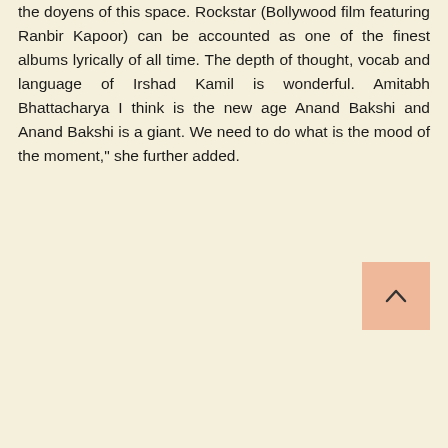the doyens of this space. Rockstar (Bollywood film featuring Ranbir Kapoor) can be accounted as one of the finest albums lyrically of all time. The depth of thought, vocab and language of Irshad Kamil is wonderful. Amitabh Bhattacharya I think is the new age Anand Bakshi and Anand Bakshi is a giant. We need to do what is the mood of the moment," she further added.
[Figure (other): Back to top button — salmon/peach colored square with an upward-pointing caret symbol]